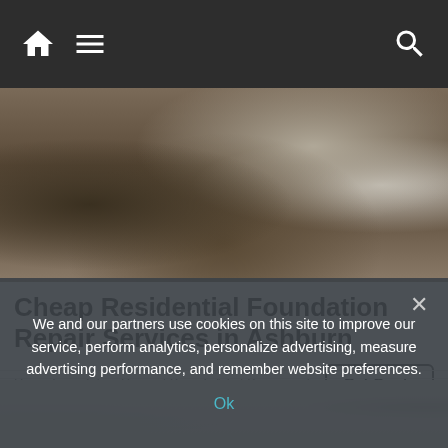Navigation bar with home, menu, and search icons
[Figure (photo): Construction/foundation repair site showing excavated earth, rocks, and concrete foundation wall]
Cheap Residential Foundation Repair Services in Ashburn
Home Foundation Repair | Search Ads | Sponsored
[Figure (photo): Interior room photo showing light-colored furniture against white/beige walls]
We and our partners use cookies on this site to improve our service, perform analytics, personalize advertising, measure advertising performance, and remember website preferences.
Ok